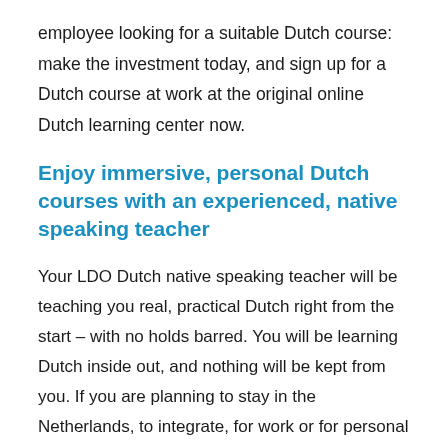employee looking for a suitable Dutch course: make the investment today, and sign up for a Dutch course at work at the original online Dutch learning center now.
Enjoy immersive, personal Dutch courses with an experienced, native speaking teacher
Your LDO Dutch native speaking teacher will be teaching you real, practical Dutch right from the start – with no holds barred. You will be learning Dutch inside out, and nothing will be kept from you. If you are planning to stay in the Netherlands, to integrate, for work or for personal reasons, you will have to learn